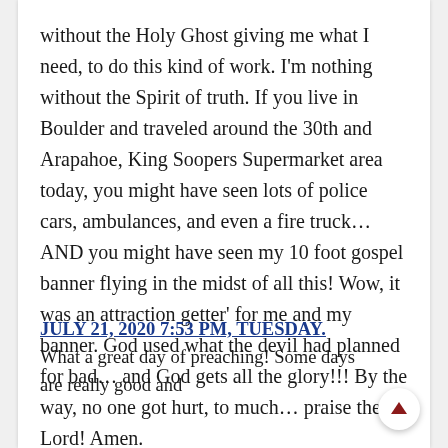without the Holy Ghost giving me what I need, to do this kind of work. I'm nothing without the Spirit of truth. If you live in Boulder and traveled around the 30th and Arapahoe, King Soopers Supermarket area today, you might have seen lots of police cars, ambulances, and even a fire truck… AND you might have seen my 10 foot gospel banner flying in the midst of all this! Wow, it was an attraction getter' for me and my banner. God used what the devil had planned for bad… and God gets all the glory!!! By the way, no one got hurt, to much… praise the Lord! Amen.
JULY 21, 2020 7:53 PM, TUESDAY. What a great day of preaching! Some days are really good and